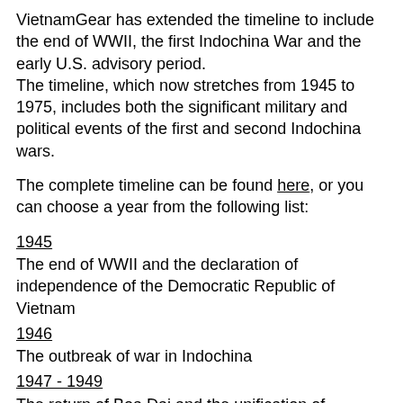VietnamGear has extended the timeline to include the end of WWII, the first Indochina War and the early U.S. advisory period.
The timeline, which now stretches from 1945 to 1975, includes both the significant military and political events of the first and second Indochina wars.
The complete timeline can be found here, or you can choose a year from the following list:
1945
The end of WWII and the declaration of independence of the Democratic Republic of Vietnam
1946
The outbreak of war in Indochina
1947 - 1949
The return of Boa Dai and the unification of Vietnam
1950
Attacks on French forts along Chinese border and the establishment of MAAC Indochina